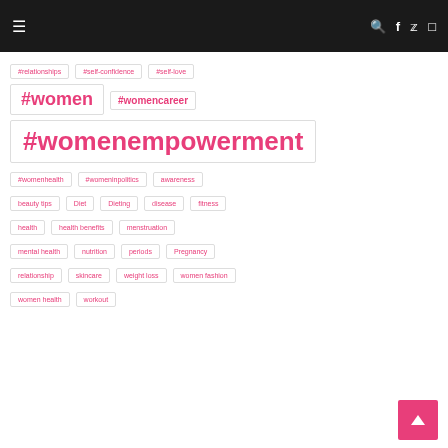≡ 🔍 f 🐦 Instagram
#relationships
#self-confidence
#self-love
#women
#womencareer
#womenempowerment
#womenhealth
#womeninpolitics
awareness
beauty tips
Diet
Dieting
disease
fitness
health
health benefits
menstruation
mental health
nutrition
periods
Pregnancy
relationship
skincare
weight loss
women fashion
women health
workout